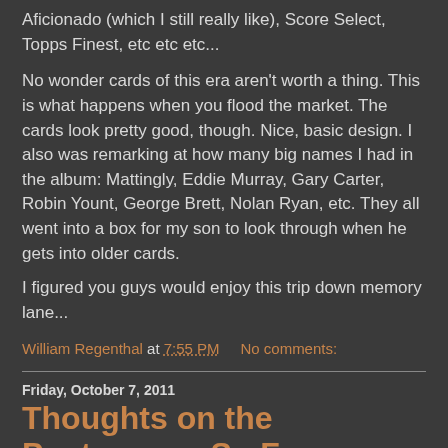Aficionado (which I still really like), Score Select, Topps Finest, etc etc etc...
No wonder cards of this era aren't worth a thing.  This is what happens when you flood the market.  The cards look pretty good, though. Nice, basic design.  I also was remarking at how many big names I had in the album: Mattingly, Eddie Murray, Gary Carter, Robin Yount, George Brett, Nolan Ryan, etc.  They all went into a box for my son to look through when he gets into older cards.
I figured you guys would enjoy this trip down memory lane...
William Regenthal at 7:55 PM    No comments:
Friday, October 7, 2011
Thoughts on the Postseason So Far...
Does everyone else agree with me that this postseason has been awesome?  3 series went to game 5.  All of the 'early